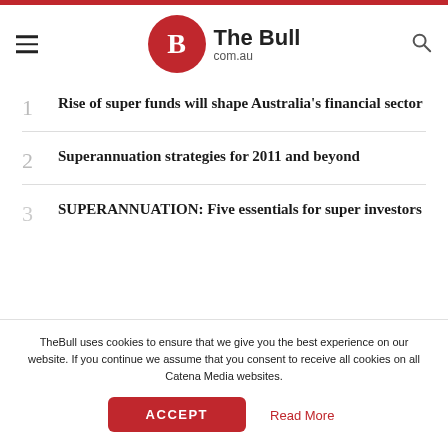The Bull com.au
1 Rise of super funds will shape Australia's financial sector
2 Superannuation strategies for 2011 and beyond
3 SUPERANNUATION: Five essentials for super investors
TheBull uses cookies to ensure that we give you the best experience on our website. If you continue we assume that you consent to receive all cookies on all Catena Media websites.
ACCEPT
Read More